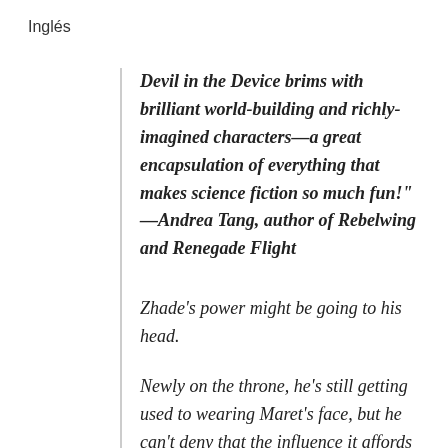Inglés
Devil in the Device brims with brilliant world-building and richly-imagined characters—a great encapsulation of everything that makes science fiction so much fun!" —Andrea Tang, author of Rebelwing and Renegade Flight
Zhade's power might be going to his head.
Newly on the throne, he's still getting used to wearing Maret's face, but he can't deny that the influence it affords him has its perks. So when the magic of Eerensed starts to turn